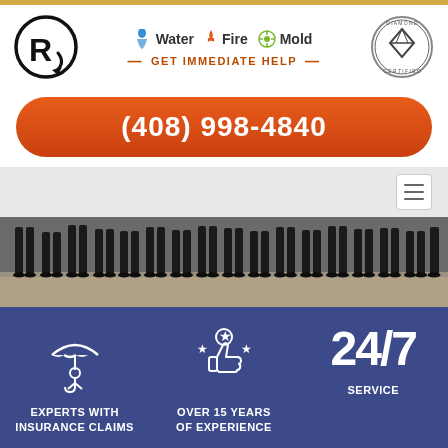[Figure (logo): Circular logo with R letter inside, black and white]
Water  Fire  Mold
— GET IMMEDIATE HELP —
[Figure (logo): Diamond Certified circular badge]
(408) 998-4840
[Figure (photo): Photo of people standing in a row, only legs/feet visible, on pavement]
[Figure (infographic): Blue strip with three icons: person under umbrella (Experts with Insurance Claims), thumbs up with stars (Over 15 Years of Experience), 24/7 (Service)]
EXPERTS WITH INSURANCE CLAIMS
OVER 15 YEARS OF EXPERIENCE
24/7 SERVICE